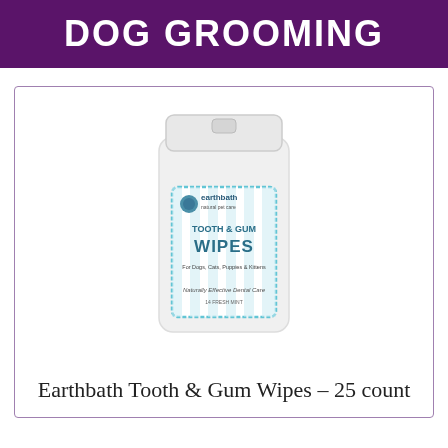DOG GROOMING
[Figure (photo): Earthbath Tooth & Gum Wipes container — a white cylindrical canister with a flip-top lid and a light-blue label featuring the earthbath natural pet care logo, 'Tooth & Gum Wipes' text, 'For Dogs, Cats, Puppies & Kittens', and 'Naturally Effective Dental Care']
Earthbath Tooth & Gum Wipes – 25 count